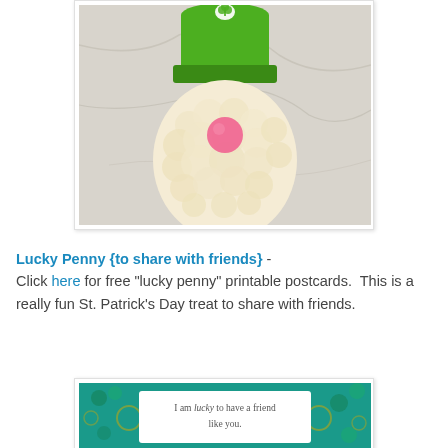[Figure (photo): A St. Patrick's Day gnome craft made from yarn — green knit hat on top with a small white shamrock emblem, a fluffy cream/white yarn pom-pom body forming a beard, and a pink pom-pom nose, resting on a marble surface.]
Lucky Penny {to share with friends} - Click here for free "lucky penny" printable postcards. This is a really fun St. Patrick's Day treat to share with friends.
[Figure (photo): A lucky penny postcard on a teal fabric with shamrock/clover pattern. The postcard reads: I am lucky to have a friend like you.]